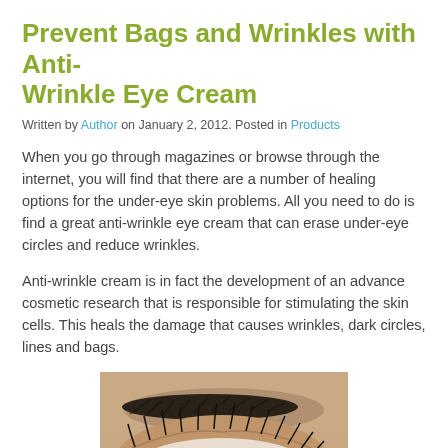Prevent Bags and Wrinkles with Anti-Wrinkle Eye Cream
Written by Author on January 2, 2012. Posted in Products
When you go through magazines or browse through the internet, you will find that there are a number of healing options for the under-eye skin problems. All you need to do is find a great anti-wrinkle eye cream that can erase under-eye circles and reduce wrinkles.
Anti-wrinkle cream is in fact the development of an advance cosmetic research that is responsible for stimulating the skin cells. This heals the damage that causes wrinkles, dark circles, lines and bags.
[Figure (photo): Close-up photograph of a human eye with dark eyebrow and long lashes, showing under-eye area relevant to anti-wrinkle cream article.]